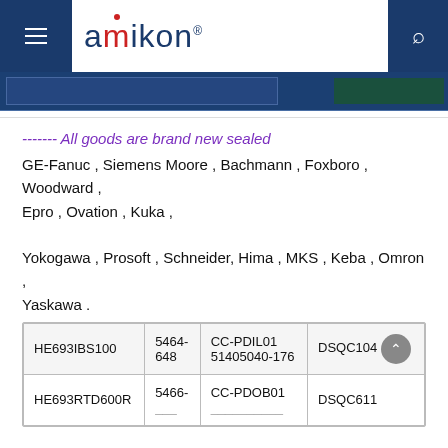amikon
[Figure (screenshot): Partial banner image showing product/brand image cropped at top]
------- All goods are brand new sealed
GE-Fanuc , Siemens Moore , Bachmann , Foxboro , Woodward , Epro , Ovation , Kuka , Yokogawa , Prosoft , Schneider, Hima , MKS , Keba , Omron , Yaskawa .
| HE693IBS100 | 5464-648 | CC-PDIL01 51405040-176 | DSQC104 |
| HE693RTD600R | 5466-... | CC-PDOB01 ... | DSQC611 |